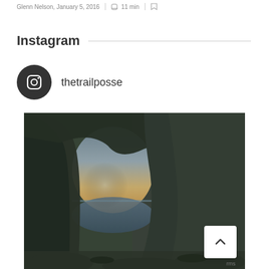Glenn Nelson, January 5, 2016 | 11 min
Instagram
thetrailposse
[Figure (photo): View through a large natural rock arch cave opening onto a coastal beach scene at sunset, with rocks in the foreground, ocean water and distant rock formations in the middle ground, and a warm sky with clouds in the background. Dark rocky walls frame the arch.]